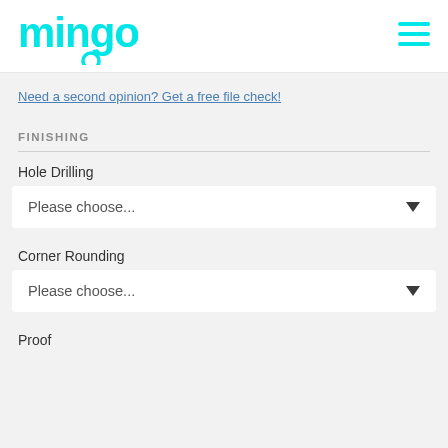mingo
Need a second opinion? Get a free file check!
FINISHING
Hole Drilling
Please choose...
Corner Rounding
Please choose...
Proof